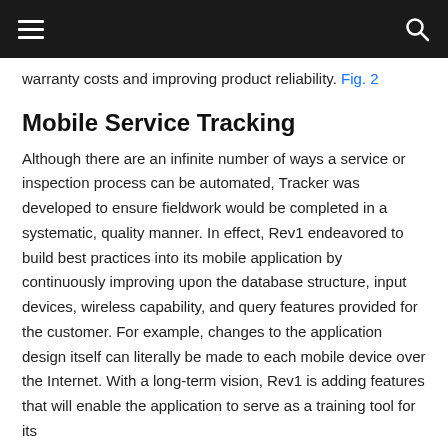warranty costs and improving product reliability. Fig. 2
Mobile Service Tracking
Although there are an infinite number of ways a service or inspection process can be automated, Tracker was developed to ensure fieldwork would be completed in a systematic, quality manner. In effect, Rev1 endeavored to build best practices into its mobile application by continuously improving upon the database structure, input devices, wireless capability, and query features provided for the customer. For example, changes to the application design itself can literally be made to each mobile device over the Internet. With a long-term vision, Rev1 is adding features that will enable the application to serve as a training tool for its